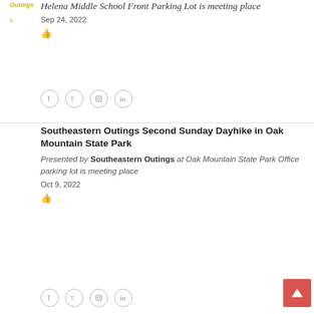Helena Middle School Front Parking Lot is meeting place
Sep 24, 2022
[Figure (other): Social media icons: Facebook, Twitter, Instagram, LinkedIn in grey circles]
Southeastern Outings Second Sunday Dayhike in Oak Mountain State Park
Presented by Southeastern Outings at Oak Mountain State Park Office parking lot is meeting place
Oct 9, 2022
[Figure (other): Social media icons: Facebook, Twitter, Instagram, LinkedIn in grey circles]
[Figure (other): Red scroll-to-top button with upward arrow]